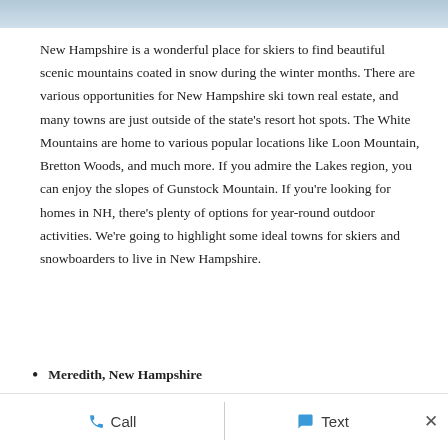[Figure (photo): Partial image strip at top of page showing a snowy mountain scene]
New Hampshire is a wonderful place for skiers to find beautiful scenic mountains coated in snow during the winter months. There are various opportunities for New Hampshire ski town real estate, and many towns are just outside of the state's resort hot spots. The White Mountains are home to various popular locations like Loon Mountain, Bretton Woods, and much more. If you admire the Lakes region, you can enjoy the slopes of Gunstock Mountain. If you're looking for homes in NH, there's plenty of options for year-round outdoor activities. We're going to highlight some ideal towns for skiers and snowboarders to live in New Hampshire.
Meredith, New Hampshire
Call   Text